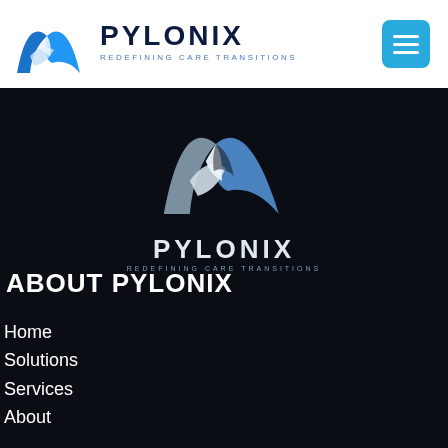[Figure (logo): Pylonix logo in header — blue mountain/peak icon with PYLONIX text and REDEFINING CARE TRANSITIONS tagline]
[Figure (other): Hamburger menu button — cyan/blue rounded square with three white horizontal lines]
[Figure (logo): Large Pylonix logo centered on dark background — blue and white mountain/peak icon with PYLONIX text and REDEFINING CARE TRANSITIONS tagline]
ABOUT PYLONIX
Home
Solutions
Services
About